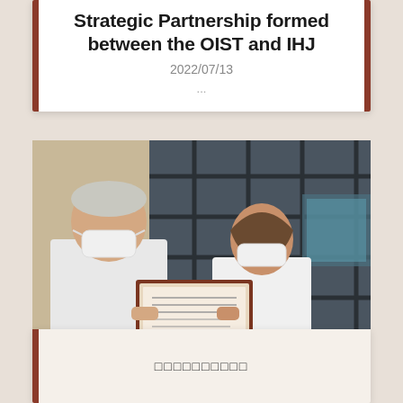Strategic Partnership formed between the OIST and IHJ
2022/07/13
...
[Figure (photo): Two people wearing face masks exchanging or holding a framed certificate/document. A man in a white polo shirt on the left and a woman in a white top on the right. They are standing in front of a large window grid background. A presentation screen is visible on the right side.]
□□□□□□□□□□